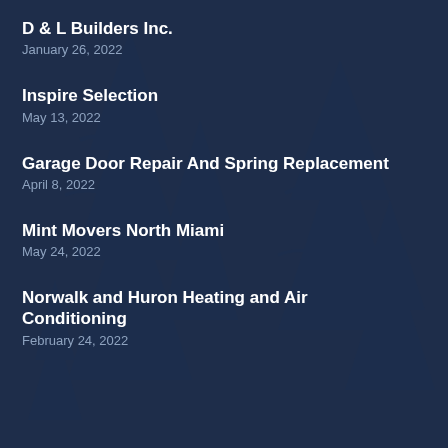D & L Builders Inc.
January 26, 2022
Inspire Selection
May 13, 2022
Garage Door Repair And Spring Replacement
April 8, 2022
Mint Movers North Miami
May 24, 2022
Norwalk and Huron Heating and Air Conditioning
February 24, 2022